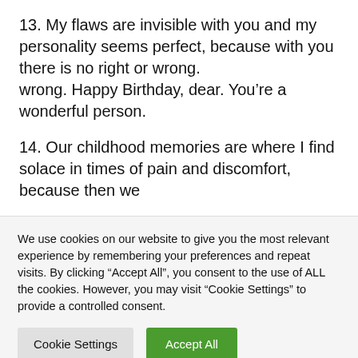13. My flaws are invisible with you and my personality seems perfect, because with you there is no right or wrong.
wrong. Happy Birthday, dear. You're a wonderful person.
14. Our childhood memories are where I find solace in times of pain and discomfort, because then we
We use cookies on our website to give you the most relevant experience by remembering your preferences and repeat visits. By clicking "Accept All", you consent to the use of ALL the cookies. However, you may visit "Cookie Settings" to provide a controlled consent.